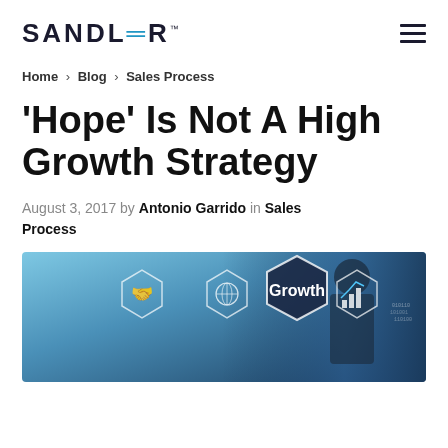SANDLER™
Home > Blog > Sales Process
'Hope' Is Not A High Growth Strategy
August 3, 2017 by Antonio Garrido in Sales Process
[Figure (photo): Business growth concept image with hexagonal icons showing handshake, globe, Growth text, and bar chart on a blue gradient background with a suited figure]